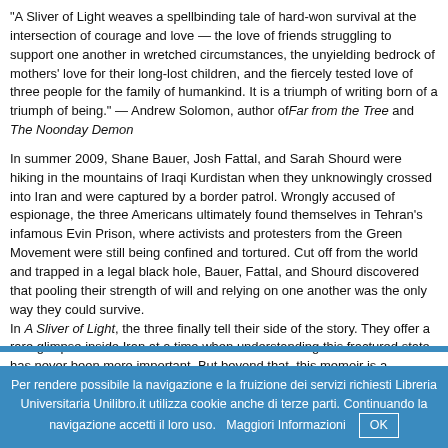“A Sliver of Light weaves a spellbinding tale of hard-won survival at the intersection of courage and love — the love of friends struggling to support one another in wretched circumstances, the unyielding bedrock of mothers’ love for their long-lost children, and the fiercely tested love of three people for the family of humankind. It is a triumph of writing born of a triumph of being.” — Andrew Solomon, author of Far from the Tree and The Noonday Demon
In summer 2009, Shane Bauer, Josh Fattal, and Sarah Shourd were hiking in the mountains of Iraqi Kurdistan when they unknowingly crossed into Iran and were captured by a border patrol. Wrongly accused of espionage, the three Americans ultimately found themselves in Tehran’s infamous Evin Prison, where activists and protesters from the Green Movement were still being confined and tortured. Cut off from the world and trapped in a legal black hole, Bauer, Fattal, and Shourd discovered that pooling their strength of will and relying on one another was the only way they could survive.
In A Sliver of Light, the three finally tell their side of the story. They offer a rare glimpse inside Iran at a time when understanding this fractured state has never been more important. But beyond that, this memoir is a profoundly humane account of defiance, hope, and the elemental power of friendship.
“Riveting and necessary and illuminating in countless unexpected ways. The hikers have pulled off the almost impossible task of making from their hellish experience something of beauty and grace.” — Dave Eggers
“A Sliver of Light is the record of a human rights triumph, a moving memoir by three individuals who found the strength to survive.” —San Jose Mercury News
Per rendere possibile la navigazione e la fruizione dei servizi richiesti Libreria Universitaria Unilibro.it utilizza cookie anche di terze parti. Continuando la navigazione accetti il loro uso.   Maggiori Informazioni   OK